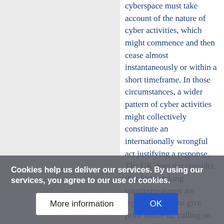cyberspace must take account of the nature of cyber activities, which might commence and then cease almost instantaneously or within a short timeframe. In those circumstances, a wider pattern of cyber activities might collectively constitute an internationally wrongful act justifying a response.

The UK does not consider that States taking countermeasures are legally obliged to give prior notice in, calling on the
Cookies help us deliver our services. By using our services, you agree to our use of cookies.